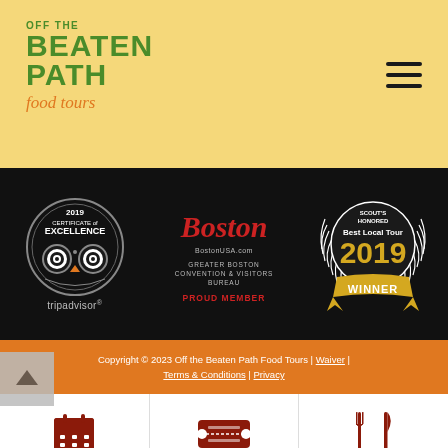[Figure (logo): Off the Beaten Path Food Tours logo in green and orange on yellow background]
[Figure (illustration): Hamburger menu icon (three horizontal lines) in top right of header]
[Figure (logo): TripAdvisor 2019 Certificate of Excellence badge with owl icon on black background]
[Figure (logo): Boston BostonUSA.com Greater Boston Convention & Visitors Bureau Proud Member badge on black background]
[Figure (logo): Scout's Honored Best Local Tour 2019 Winner badge on black background]
Copyright © 2023 Off the Beaten Path Food Tours | Waiver | Terms & Conditions | Privacy
[Figure (illustration): Calendar icon in dark red/brown color above TOUR CALENDAR text]
[Figure (illustration): Ticket icon in dark red/brown color above BOOK NOW! text]
[Figure (illustration): Fork and knife icon in dark red/brown color above ALL TOURS text]